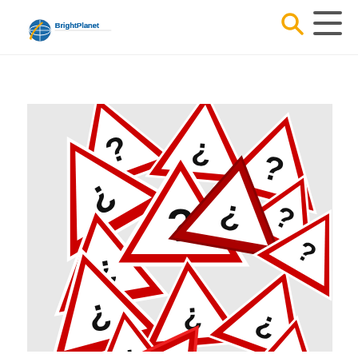BrightPlanet logo with search and menu navigation icons
[Figure (photo): A pile of red and white triangular warning road signs, each containing a question mark symbol (¿?), overlapping and stacked in multiple directions]